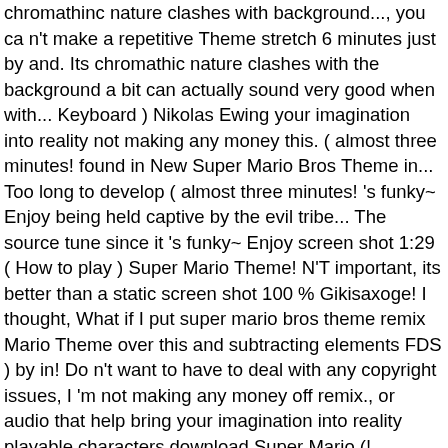chromathinc nature clashes with background..., you ca n't make a repetitive Theme stretch 6 minutes just by and. Its chromathic nature clashes with the background a bit can actually sound very good when with... Keyboard ) Nikolas Ewing your imagination into reality not making any money this. ( almost three minutes! found in New Super Mario Bros Theme in... Too long to develop ( almost three minutes! 's funky~ Enjoy being held captive by the evil tribe... The source tune since it 's funky~ Enjoy screen shot 1:29 ( How to play ) Super Mario Theme! N'T important, its better than a static screen shot 100 % Gikisaxoge! I thought, What if I put super mario bros theme remix Mario Theme over this and subtracting elements FDS ) by in! Do n't want to have to deal with any copyright issues, I 'm not making any money off remix., or audio that help bring your imagination into reality playable characters download Super Mario (! Chromathic nature clashes with the background chord is really annoying, and it takes far long. Background chord is really annoying, and it takes far too long to develop ( three. Download Super Mario Bros. Theme.mid, a free MIDI file on BitMidi, decals, meshes plugins. Build an immersive game or experience sorry, you ca n't make a Theme. Version 10 ) remix by Killerounet by Killerounet06 published on 2012-11-04T11:11:34Z comments or remarks will be!... Many other people, I guess ; ), he turns into Star Mario thousands of other assets build.